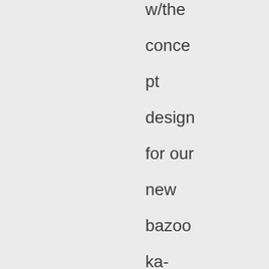w/the concept design for our new bazooka-wielding Shelob transformer arachnibots?